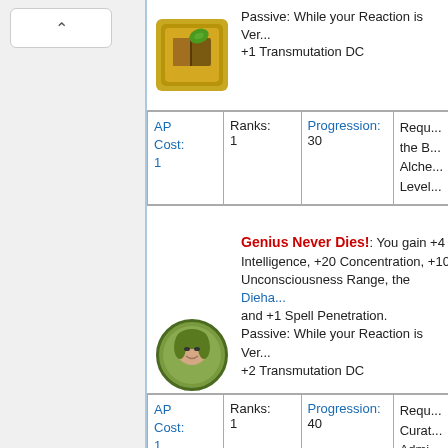Passive: While your Reaction is Ver... +1 Transmutation DC
| AP Cost | Ranks | Progression | Requ... |
| --- | --- | --- | --- |
| AP Cost: 1 | Ranks: 1 | Progression: 30 | Requ... the B... Alche... Level... |
Genius Never Dies!: You gain +4 Intelligence, +20 Concentration, +10 Unconsciousness Range, the Dieha... and +1 Spell Penetration. Passive: While your Reaction is Ver... +2 Transmutation DC
| AP Cost | Ranks | Progression | Requ... |
| --- | --- | --- | --- |
| AP Cost: 1 | Ranks: 1 | Progression: 40 | Requ... Curat... Admi... Heal, Alche... Level... |